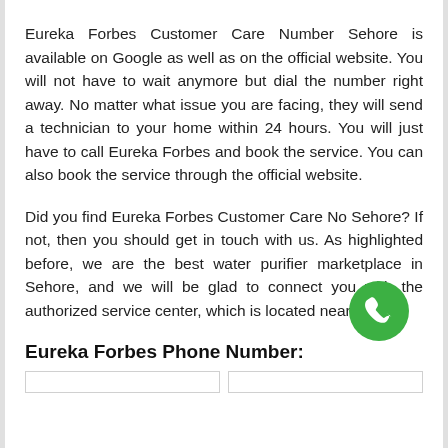Eureka Forbes Customer Care Number Sehore is available on Google as well as on the official website. You will not have to wait anymore but dial the number right away. No matter what issue you are facing, they will send a technician to your home within 24 hours. You will just have to call Eureka Forbes and book the service. You can also book the service through the official website.
Did you find Eureka Forbes Customer Care No Sehore? If not, then you should get in touch with us. As highlighted before, we are the best water purifier marketplace in Sehore, and we will be glad to connect you with the authorized service center, which is located near you!
Eureka Forbes Phone Number: